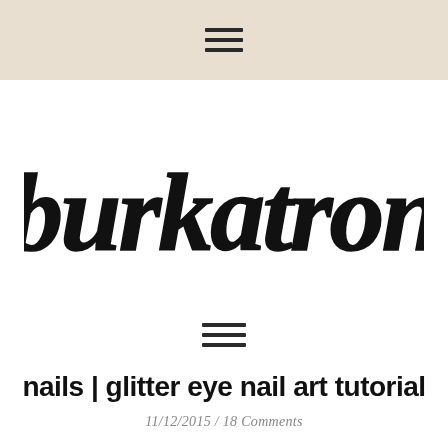☰ (hamburger menu icon)
[Figure (logo): burkatron blog logo in large hand-lettered brush script font]
[Figure (other): hamburger/navigation menu icon (three horizontal lines)]
nails | glitter eye nail art tutorial
11/12/2015 / 18 Comments